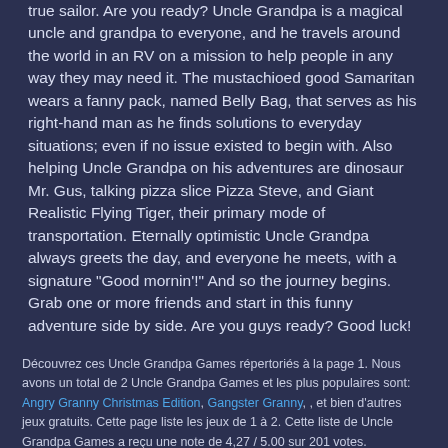true sailor. Are you ready? Uncle Grandpa is a magical uncle and grandpa to everyone, and he travels around the world in an RV on a mission to help people in any way they may need it. The mustachioed good Samaritan wears a fanny pack, named Belly Bag, that serves as his right-hand man as he finds solutions to everyday situations; even if no issue existed to begin with. Also helping Uncle Grandpa on his adventures are dinosaur Mr. Gus, talking pizza slice Pizza Steve, and Giant Realistic Flying Tiger, their primary mode of transportation. Eternally optimistic Uncle Grandpa always greets the day, and everyone he meets, with a signature "Good mornin'!" And so the journey begins. Grab one or more friends and start in this funny adventure side by side. Are you guys ready? Good luck!
Découvrez ces Uncle Grandpa Games répertoriés à la page 1. Nous avons un total de 2 Uncle Grandpa Games et les plus populaires sont: Angry Granny Christmas Edition, Gangster Granny, , et bien d'autres jeux gratuits. Cette page liste les jeux de 1 à 2. Cette liste de Uncle Grandpa Games a reçu une note de 4,27 / 5.00 sur 201 votes.
Choisissez la Langue: 🇫🇷
Vous pouvez également nous retrouver sur: Facebook - Twiter - Pinterest - Youtube - Patreon